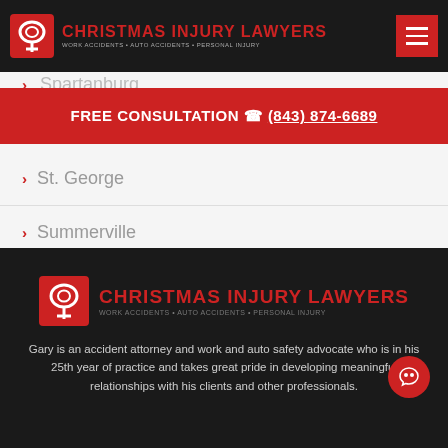[Figure (logo): Christmas Injury Lawyers logo with red icon and text, tagline: WORK ACCIDENTS • AUTO ACCIDENTS • PERSONAL INJURY]
Spartanburg
FREE CONSULTATION (843) 874-6689
St. George
Summerville
Sumter
[Figure (logo): Christmas Injury Lawyers logo on dark background with red icon and text, tagline: WORK ACCIDENTS • AUTO ACCIDENTS • PERSONAL INJURY]
Gary is an accident attorney and work and auto safety advocate who is in his 25th year of practice and takes great pride in developing meaningful relationships with his clients and other professionals.